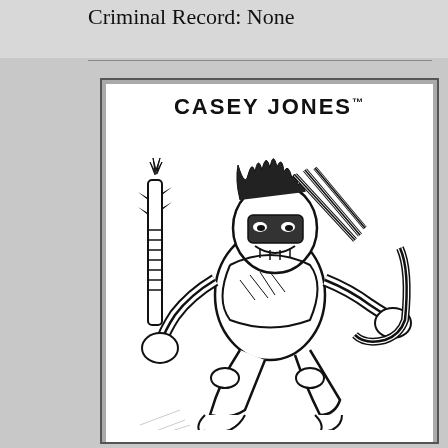Criminal Record: None
[Figure (illustration): Comic book style black and white illustration of Casey Jones, a masked vigilante character holding sports equipment weapons (hockey stick, golf club, baseball bat). He is in an action pose with spiky accessories. Text at top reads 'CASEY JONES™'.]